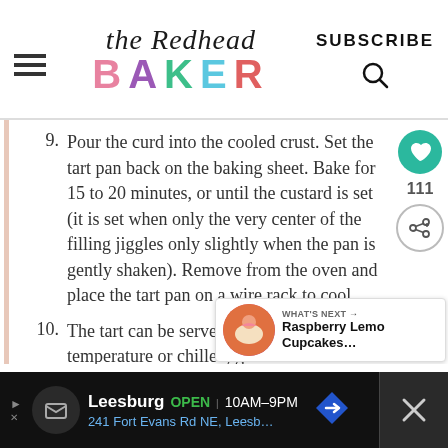the Redhead BAKER — SUBSCRIBE
9. Pour the curd into the cooled crust. Set the tart pan back on the baking sheet. Bake for 15 to 20 minutes, or until the custard is set (it is set when only the very center of the filling jiggles only slightly when the pan is gently shaken). Remove from the oven and place the tart pan on a wire rack to cool.
10. The tart can be served at room temperature or chilled, garnished with whipped cream and fresh rasp...
[Figure (other): What's Next panel with Raspberry Lemo Cupcakes image thumbnail]
[Figure (other): Advertisement bar: Leesburg OPEN 10AM-9PM, 241 Fort Evans Rd NE, Leesb...]